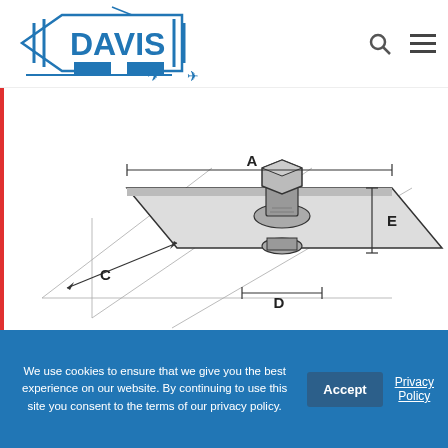Davis Aircraft Products - Navigation header with logo and search/menu icons
[Figure (engineering-diagram): Engineering diagram of a fastener/clamp component with labeled dimensions A (width), C (diagonal), D (bottom width), E (height). Shows a 3D perspective view of a flat plate with a bolt/nut assembly.]
| PART NO. | Strength LBS/Kg | Weight LBS/Kg | Material | A U... |
| --- | --- | --- | --- | --- |
We use cookies to ensure that we give you the best experience on our website. By continuing to use this site you consent to the terms of our privacy policy.